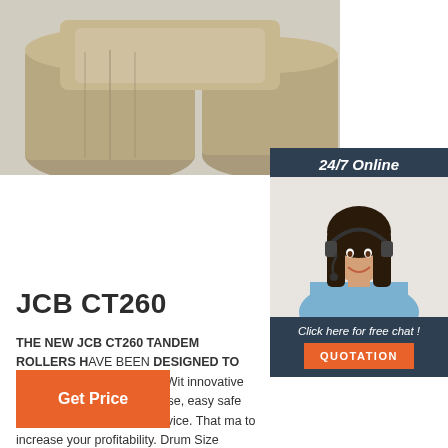[Figure (photo): Product photo of JCB CT260 tandem roller, shown from front/side angle against a light gray background. The machine has a beige/tan color.]
[Figure (photo): 24/7 Online chat widget showing a female customer service agent wearing a headset, smiling. Dark navy background with orange QUOTATION button and italic text 'Click here for free chat!']
JCB CT260
THE NEW JCB CT260 TANDEM ROLLERS HAVE BEEN DESIGNED TO MAKE YOUR LIFE EASY. With innovative features, they are easy to use, easy to maintain, safe and secure and easy to service. That makes them easy to increase your profitability. Drum Size 1000mm -1200mm. Engine Power 18.5kW.
[Figure (other): Orange 'Get Price' button]